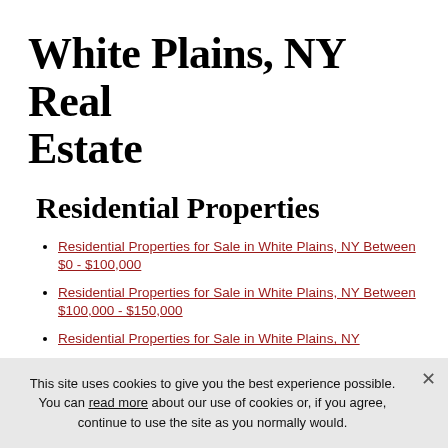White Plains, NY Real Estate
Residential Properties
Residential Properties for Sale in White Plains, NY Between $0 - $100,000
Residential Properties for Sale in White Plains, NY Between $100,000 - $150,000
Residential Properties for Sale in White Plains, NY
This site uses cookies to give you the best experience possible. You can read more about our use of cookies or, if you agree, continue to use the site as you normally would.